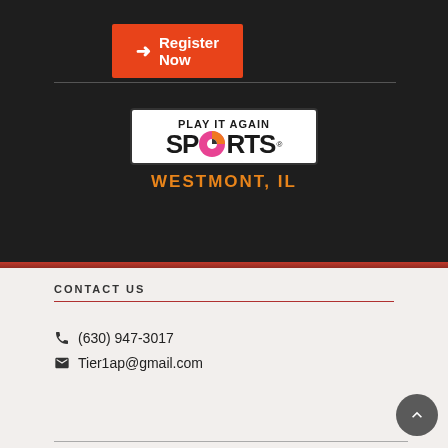Register Now
[Figure (logo): Play It Again Sports logo with WESTMONT, IL text below]
CONTACT US
(630) 947-3017
Tier1ap@gmail.com